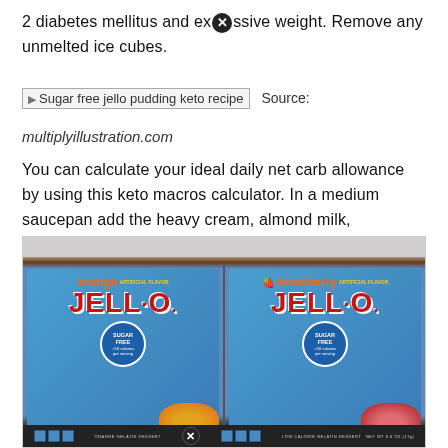2 diabetes mellitus and excessive weight. Remove any unmelted ice cubes.
[Figure (photo): Broken image placeholder labeled 'Sugar free jello pudding keto recipe' with 'Source: multiplyillustration.com' text beside it]
You can calculate your ideal daily net carb allowance by using this keto macros calculator. In a medium saucepan add the heavy cream, almond milk, powdered swerve, and cocoa powder.
[Figure (photo): Photo of two Jell-O sugar free boxes: orange flavor and strawberry flavor, both labeled Sugar Free with 10 calories per serving]